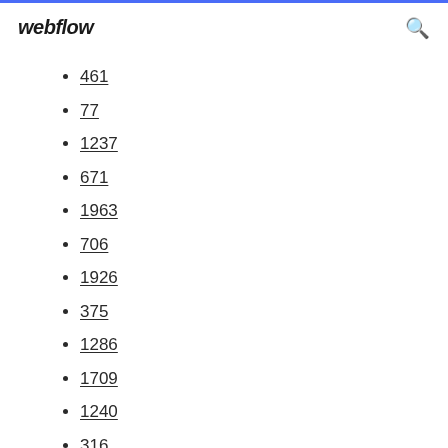webflow
461
77
1237
671
1963
706
1926
375
1286
1709
1240
316